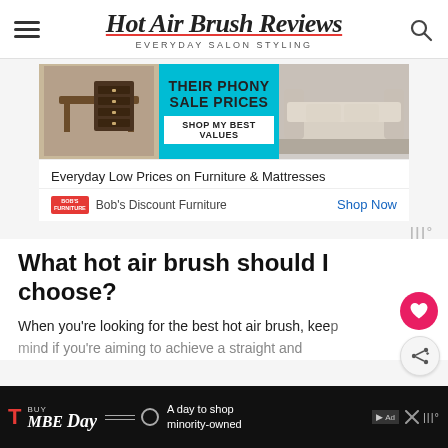Hot Air Brush Reviews EVERYDAY SALON STYLING
[Figure (screenshot): Advertisement for Bob's Discount Furniture showing furniture images, 'THEIR PHONY SALE PRICES' text on teal background, and 'SHOP MY BEST VALUES' button. Below: 'Everyday Low Prices on Furniture & Mattresses', Bob's logo, and 'Shop Now' link.]
What hot air brush should I choose?
When you're looking for the best hot air brush, keep mind if you're aiming to achieve a straight and voluminous look you
[Figure (screenshot): T-Mobile advertisement banner: 'BUY MBE Day' with T logo, 'A day to shop minority-owned' text, close button and ad badge.]